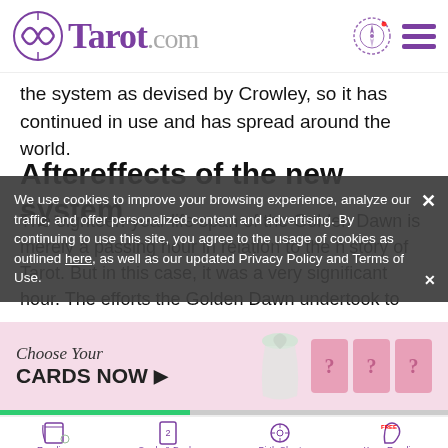Tarot.com
the system as devised by Crowley, so it has continued in use and has spread around the world.
Aftereffects of the new system
The eighteen-year life span of the Golden Dawn is merely a passing hour in relation to the history of Tarot. But in this case, it was a very significant hour. The efforts the Golden Dawn undertook to create an authentic
We use cookies to improve your browsing experience, analyze our traffic, and offer personalized content and advertising. By continuing to use this site, you agree to the usage of cookies as outlined here, as well as our updated Privacy Policy and Terms of Use.
[Figure (screenshot): Ad banner: Choose Your CARDS NOW with tarot card graphics]
Readings | Cards & Decks | Birth Chart | Keen Reading